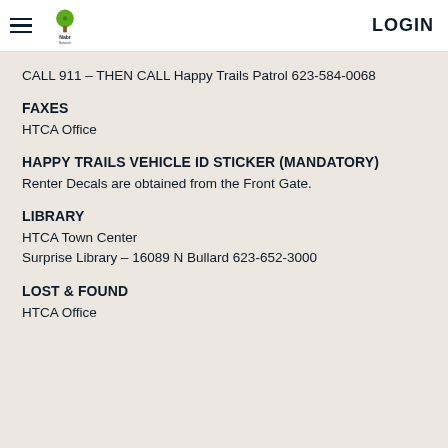Nabr Network — LOGIN
CALL 911 – THEN CALL Happy Trails Patrol 623-584-0068
FAXES
HTCA Office
HAPPY TRAILS VEHICLE ID STICKER (MANDATORY)
Renter Decals are obtained from the Front Gate.
LIBRARY
HTCA Town Center
Surprise Library – 16089 N Bullard 623-652-3000
LOST & FOUND
HTCA Office